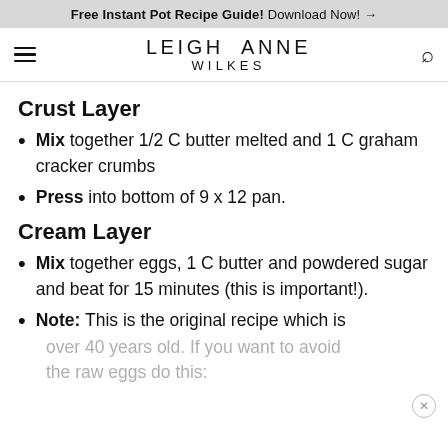Free Instant Pot Recipe Guide! Download Now! →
LEIGH ANNE WILKES
Crust Layer
Mix together 1/2 C butter melted and 1 C graham cracker crumbs
Press into bottom of 9 x 12 pan.
Cream Layer
Mix together eggs, 1 C butter and powdered sugar and beat for 15 minutes (this is important!).
Note: This is the original recipe which is over 40 years old. If you want to avoid the raw eggs do this: